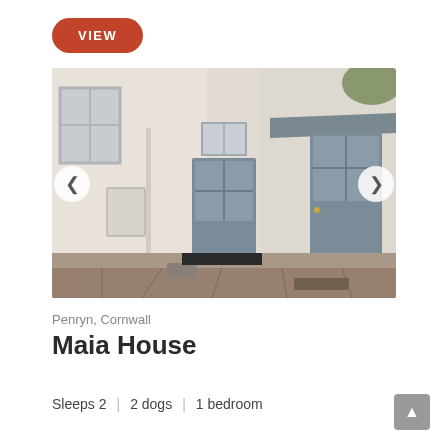VIEW
[Figure (photo): Exterior photo of Maia House in Penryn, Cornwall — showing a cream/white painted terrace facade with grey-blue doors, a canopy porch, and stone-paved courtyard. Navigation arrows on left and right sides of the image.]
Penryn, Cornwall
Maia House
Sleeps 2  |  2 dogs  |  1 bedroom